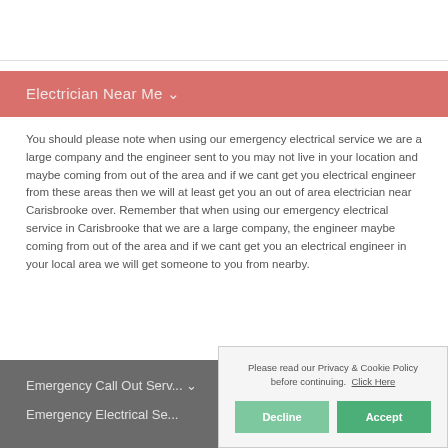Electrician Near Me ∨
You should please note when using our emergency electrical service we are a large company and the engineer sent to you may not live in your location and maybe coming from out of the area and if we cant get you electrical engineer from these areas then we will at least get you an out of area electrician near Carisbrooke over. Remember that when using our emergency electrical service in Carisbrooke that we are a large company, the engineer maybe coming from out of the area and if we cant get you an electrical engineer in your local area we will get someone to you from nearby.
Emergency Call Out Service ∨
Emergency Electrical Se...
Please read our Privacy & Cookie Policy before continuing. Click Here
Decline | Accept